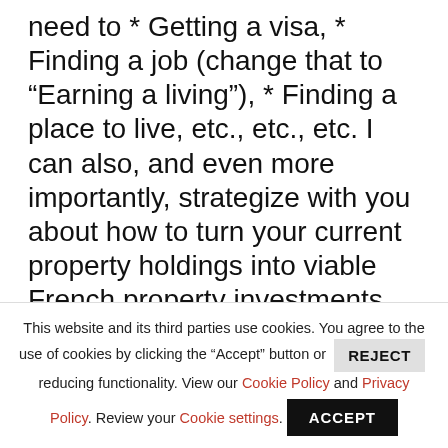need to * Getting a visa, * Finding a job (change that to “Earning a living”), * Finding a place to live, etc., etc., etc. I can also, and even more importantly, strategize with you about how to turn your current property holdings into viable French property investments and how to live a whole lot less expensively in France than in North America (or elsewhere). There is a minimum charge for my time, but I can assure you, you will find it a bargain.
This website and its third parties use cookies. You agree to the use of cookies by clicking the "Accept" button or REJECT reducing functionality. View our Cookie Policy and Privacy Policy. Review your Cookie settings. ACCEPT